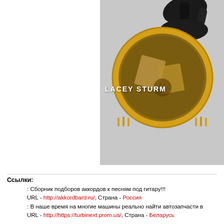[Figure (photo): Album cover image showing a gloved hand holding a circular ornate medallion/artwork with gold border against a light gray background, with text 'LACEY STURM' overlaid in white bold letters]
Ссылки:
: Сборник подборов аккордов к песням под гитару!!!
URL - http://akkordbard.ru/, Страна - Россия
: В наше время на многие машины реально найти автозапчасти в
URL - http://https://turbinext.prom.ua/, Страна - Беларусь